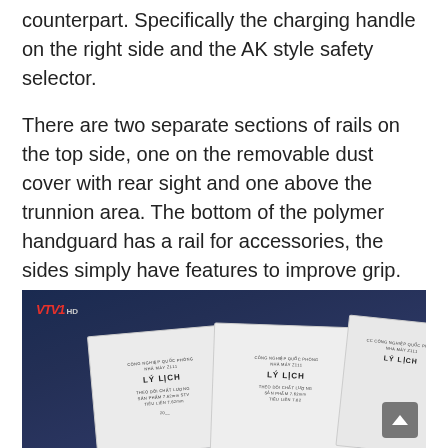counterpart. Specifically the charging handle on the right side and the AK style safety selector.
There are two separate sections of rails on the top side, one on the removable dust cover with rear sight and one above the trunnion area. The bottom of the polymer handguard has a rail for accessories, the sides simply have features to improve grip.
The shorter barrel STV-215 is shown as well on racks.
[Figure (photo): A video screenshot from VTV HD showing two or three white hexagonal document placards labeled 'LY LICH' (biography/record cards) with Vietnamese text, displayed against a dark blue background. A scroll-up button is visible in the bottom right corner.]